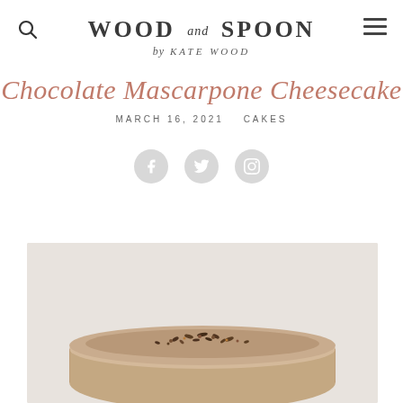WOOD and SPOON by KATE WOOD
Chocolate Mascarpone Cheesecake
MARCH 16, 2021   CAKES
[Figure (photo): Photo of a chocolate mascarpone cheesecake topped with chocolate shavings and sprinkles, on a light beige/cream background, showing the top portion and sides of the cake.]